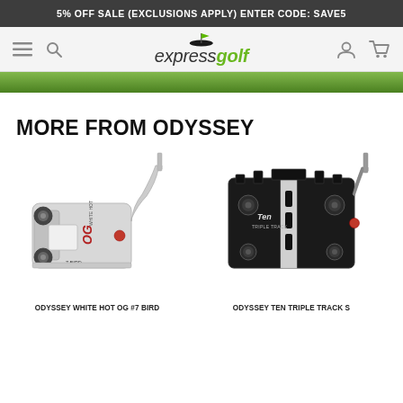5% OFF SALE (EXCLUSIONS APPLY) ENTER CODE: SAVE5
[Figure (logo): Express Golf logo with golf flag icon above stylized 'expressgolf' text in italic, 'express' in dark grey and 'golf' in green]
[Figure (photo): Green grass/golf course hero image strip]
MORE FROM ODYSSEY
[Figure (photo): Odyssey White Hot OG #7 Bird putter - silver/chrome mallet putter with curved neck, angled left]
[Figure (photo): Odyssey Ten Triple Track S putter - black mallet putter with white alignment lines, angled right]
ODYSSEY WHITE HOT OG #7 BIRD
ODYSSEY TEN TRIPLE TRACK S